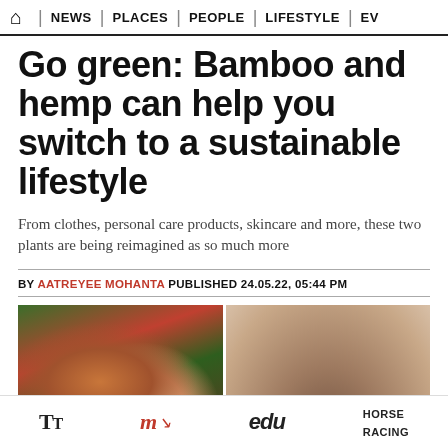🏠 | NEWS | PLACES | PEOPLE | LIFESTYLE | EV
Go green: Bamboo and hemp can help you switch to a sustainable lifestyle
From clothes, personal care products, skincare and more, these two plants are being reimagined as so much more
BY AATREYEE MOHANTA PUBLISHED 24.05.22, 05:44 PM
[Figure (photo): Two photos side by side: left shows a wooden spoon held by a hand against a floral background; right shows a neutral beige/brown background with a small object at the bottom.]
TT | my | edu | HORSE RACING